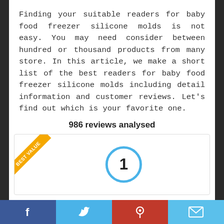Finding your suitable readers for baby food freezer silicone molds is not easy. You may need consider between hundred or thousand products from many store. In this article, we make a short list of the best readers for baby food freezer silicone molds including detail information and customer reviews. Let's find out which is your favorite one.
986 reviews analysed
[Figure (infographic): A product card with a golden 'BEST VALUE' diagonal ribbon in the top-left corner and a blue circle with the number 1 in the center.]
Facebook | Twitter | Pinterest | Email